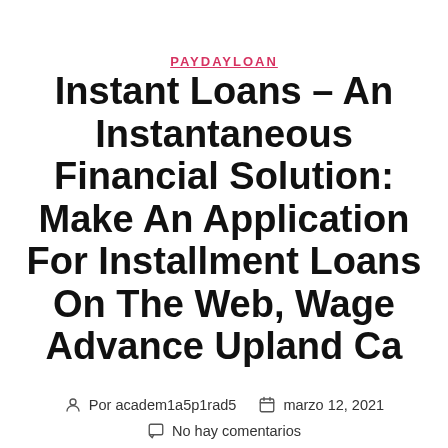PAYDAYLOAN
Instant Loans – An Instantaneous Financial Solution: Make An Application For Installment Loans On The Web, Wage Advance Upland Ca
Por academ1a5p1rad5   marzo 12, 2021
No hay comentarios